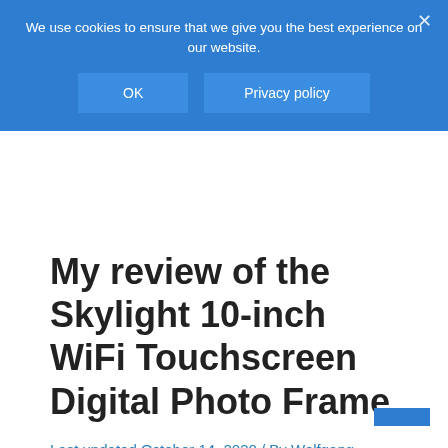We use cookies to ensure that we give you the best experience on our website.
OK
Privacy policy
My review of the Skylight 10-inch WiFi Touchscreen Digital Photo Frame
Last updated October 14, 2020 / By Wolfgang Männel